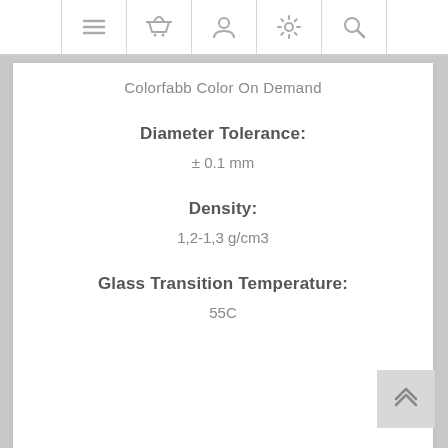Navigation bar with icons: menu, basket, user, settings, search
Colorfabb Color On Demand
Diameter Tolerance:
± 0.1 mm
Density:
1,2-1,3 g/cm3
Glass Transition Temperature:
55C